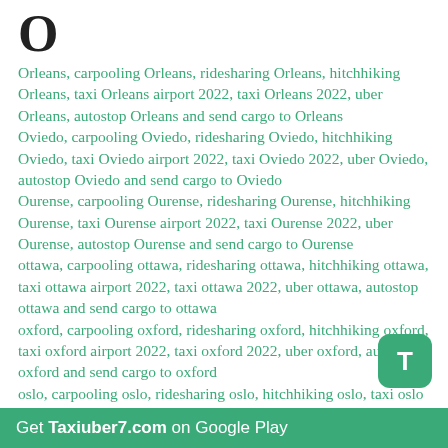O
Orleans, carpooling Orleans, ridesharing Orleans, hitchhiking Orleans, taxi Orleans airport 2022, taxi Orleans 2022, uber Orleans, autostop Orleans and send cargo to Orleans
Oviedo, carpooling Oviedo, ridesharing Oviedo, hitchhiking Oviedo, taxi Oviedo airport 2022, taxi Oviedo 2022, uber Oviedo, autostop Oviedo and send cargo to Oviedo
Ourense, carpooling Ourense, ridesharing Ourense, hitchhiking Ourense, taxi Ourense airport 2022, taxi Ourense 2022, uber Ourense, autostop Ourense and send cargo to Ourense
ottawa, carpooling ottawa, ridesharing ottawa, hitchhiking ottawa, taxi ottawa airport 2022, taxi ottawa 2022, uber ottawa, autostop ottawa and send cargo to ottawa
oxford, carpooling oxford, ridesharing oxford, hitchhiking oxford, taxi oxford airport 2022, taxi oxford 2022, uber oxford, autostop oxford and send cargo to oxford
oslo, carpooling oslo, ridesharing oslo, hitchhiking oslo, taxi oslo airport 2022, taxi oslo 2022, uber oslo, autostop oslo and send cargo to oslo
orlando, carpooling orlando, ridesharing orlando, hitchhiking orlando, ...
Get Taxiuber7.com on Google Play